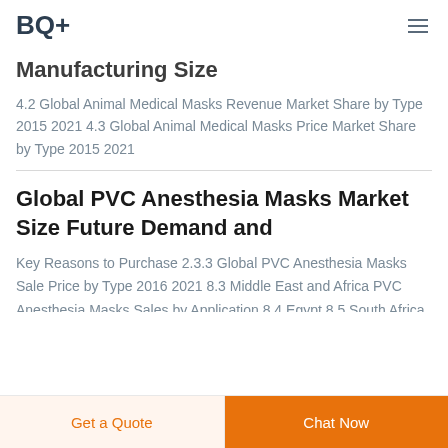BQ+
Manufacturing Size
4.2 Global Animal Medical Masks Revenue Market Share by Type 2015 2021 4.3 Global Animal Medical Masks Price Market Share by Type 2015 2021
Global PVC Anesthesia Masks Market Size Future Demand and
Key Reasons to Purchase 2.3.3 Global PVC Anesthesia Masks Sale Price by Type 2016 2021 8.3 Middle East and Africa PVC Anesthesia Masks Sales by Application 8.4 Egypt 8.5 South Africa 8.
Get a Quote | Chat Now